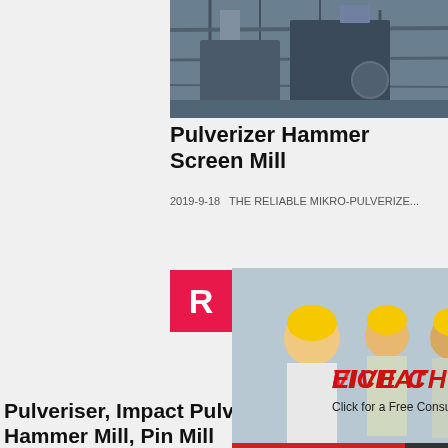[Figure (photo): Industrial machinery / pulverizer equipment on scaffolding, exterior plant photo]
Pulverizer Hammer Screen Mill
2019-9-18   THE RELIABLE MIKRO-PULVERIZE...
[Figure (photo): Live Chat popup overlay showing workers in yellow hard hats with 'LIVE CHAT - Click for a Free Consultation' text, Chat now and Chat later buttons]
[Figure (photo): Right sidebar with orange background showing crushing/mining equipment images, Enjoy 3% discount, Click to Chat, Enquiry, limingjlmofen@sina.com]
[Figure (photo): Mining/quarry site aerial photo showing equipment in a dusty open area]
Pulveriser, Impact Pulveriser, Hammer Mill, Pin Mill